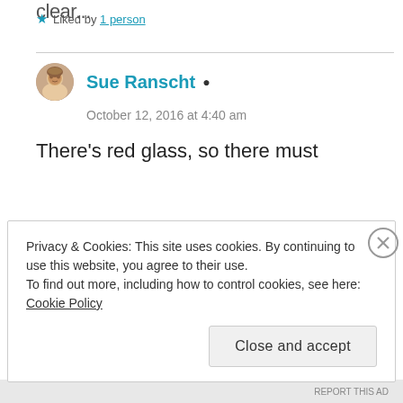clear...
★ Liked by 1 person
Sue Ranscht
October 12, 2016 at 4:40 am
There's red glass, so there must
Privacy & Cookies: This site uses cookies. By continuing to use this website, you agree to their use.
To find out more, including how to control cookies, see here: Cookie Policy
Close and accept
REPORT THIS AD